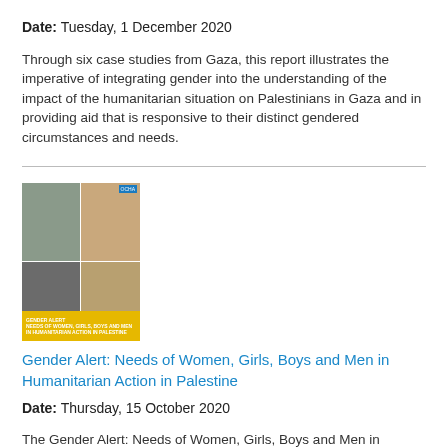Date: Tuesday, 1 December 2020
Through six case studies from Gaza, this report illustrates the imperative of integrating gender into the understanding of the impact of the humanitarian situation on Palestinians in Gaza and in providing aid that is responsive to their distinct gendered circumstances and needs.
[Figure (photo): Book cover of the Gender Alert report showing a 2x2 grid of photos of people (women, children) in Palestinian settings, with a yellow banner at the bottom showing the report title.]
Gender Alert: Needs of Women, Girls, Boys and Men in Humanitarian Action in Palestine
Date: Thursday, 15 October 2020
The Gender Alert: Needs of Women, Girls, Boys and Men in Humanitarian Action in Palestine (2020) is developed to inform the 2021 Humanitarian Needs Overview (HNO) and Humanitarian Response Plan (HRP) . The Gender Alert provides robust multisectoral analysis with a focus on gender specific